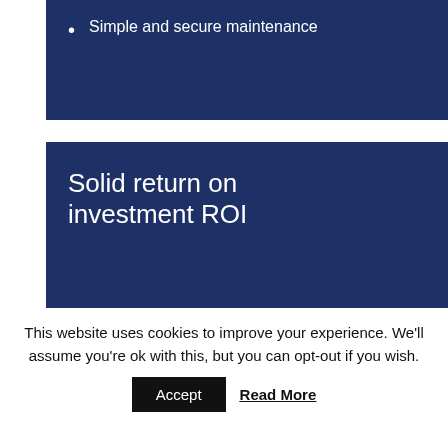Simple and secure maintenance
Solid return on investment ROI
When you spend time manually counting, sorting, processing, and reconciling money every day, you're basically throwing money away. With our truly closed cash
This website uses cookies to improve your experience. We'll assume you're ok with this, but you can opt-out if you wish.
Accept
Read More